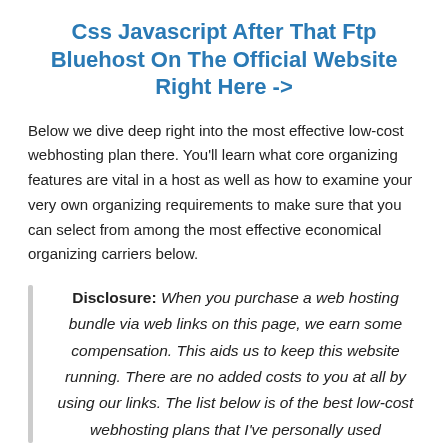Css Javascript After That Ftp Bluehost On The Official Website Right Here ->
Below we dive deep right into the most effective low-cost webhosting plan there. You'll learn what core organizing features are vital in a host as well as how to examine your very own organizing requirements to make sure that you can select from among the most effective economical organizing carriers below.
Disclosure: When you purchase a web hosting bundle via web links on this page, we earn some compensation. This aids us to keep this website running. There are no added costs to you at all by using our links. The list below is of the best low-cost webhosting plans that I've personally used